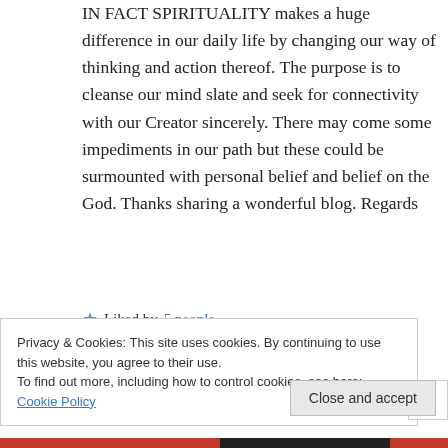IN FACT SPIRITUALITY makes a huge difference in our daily life by changing our way of thinking and action thereof. The purpose is to cleanse our mind slate and seek for connectivity with our Creator sincerely. There may come some impediments in our path but these could be surmounted with personal belief and belief on the God. Thanks sharing a wonderful blog. Regards
★ Liked by 5 people
Privacy & Cookies: This site uses cookies. By continuing to use this website, you agree to their use. To find out more, including how to control cookies, see here: Cookie Policy
Close and accept